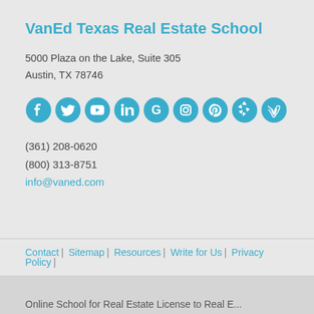VanEd Texas Real Estate School
5000 Plaza on the Lake, Suite 305
Austin, TX 78746
[Figure (infographic): Social media icons row: Facebook, Twitter, YouTube, LinkedIn, Google, Instagram, Pinterest, Yelp, Vimeo — all in teal/cyan color]
(361) 208-0620
(800) 313-8751
info@vaned.com
Contact | Sitemap | Resources | Write for Us | Privacy Policy |
Online School for Real Estate License to Real E...